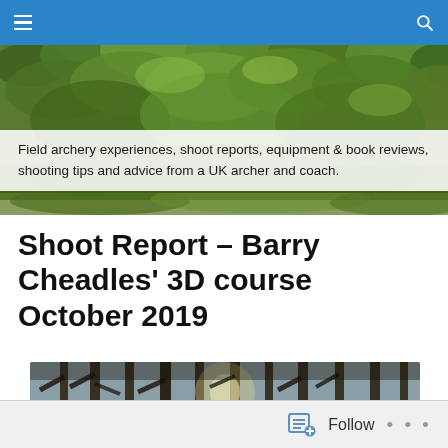Navigation bar with hamburger menu and search icon
[Figure (photo): Green foliage / leaves header banner image]
Field archery experiences, shoot reports, equipment & book reviews, shooting tips and advice from a UK archer and coach.
Shoot Report – Barry Cheadles' 3D course October 2019
[Figure (photo): Forest photo showing tall pine trees with sunlight filtering through]
Follow • • •